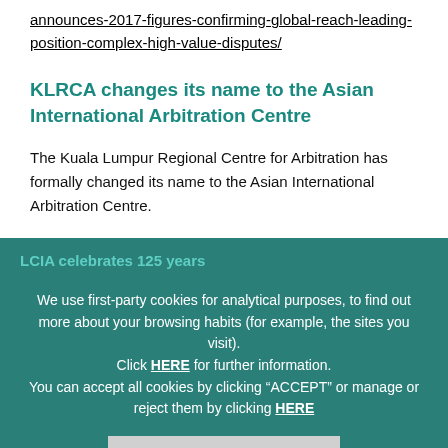announces-2017-figures-confirming-global-reach-leading-position-complex-high-value-disputes/
KLRCA changes its name to the Asian International Arbitration Centre
The Kuala Lumpur Regional Centre for Arbitration has formally changed its name to the Asian International Arbitration Centre.
LCIA celebrates 125 years
The LCIA celebrated its 125th birthday, with the launch of a collection of the "perspectives" by members of the arbitration community, a new database of summarised challenge decisions, a consultation about revising its rules – and a big party in London.
We use first-party cookies for analytical purposes, to find out more about your browsing habits (for example, the sites you visit). Click HERE for further information. You can accept all cookies by clicking "ACCEPT" or manage or reject them by clicking HERE
ACCEPT